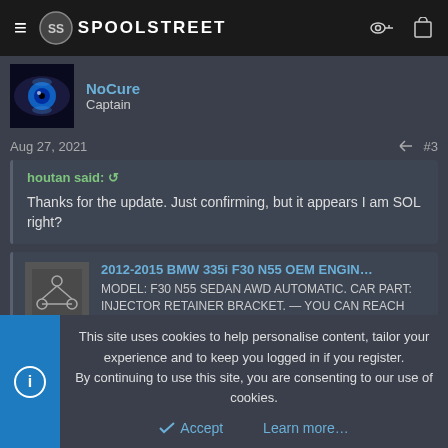SpoolStreet navigation bar
NoCure
Captain
Aug 27, 2021   #3
houtan said:
Thanks for the update. Just confirming, but it appears I am SOL right?
2012-2015 BMW 335i F30 N55 OEM ENGIN...
MODEL: F30 N55 SEDAN AWD AUTOMATIC. CAR PART: INJECTOR RETAINER BRACKET. — YOU CAN REACH
This site uses cookies to help personalise content, tailor your experience and to keep you logged in if you register.
By continuing to use this site, you are consenting to our use of cookies.
Accept   Learn more...